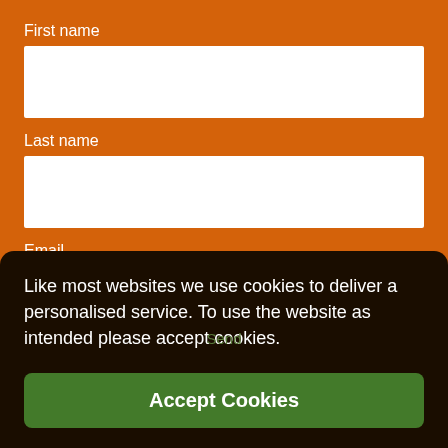First name
[Figure (other): White input field for First name]
Last name
[Figure (other): White input field for Last name]
Email
[Figure (other): White input field for Email, partially obscured by cookie banner]
Like most websites we use cookies to deliver a personalised service. To use the website as intended please accept cookies.
Accept Cookies